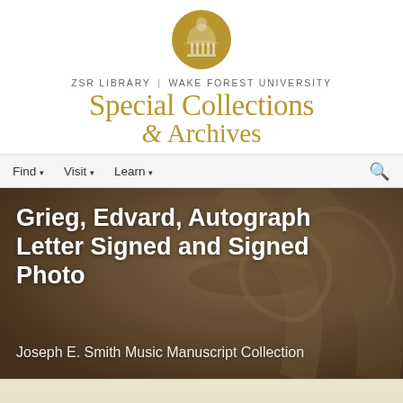[Figure (logo): ZSR Library Wake Forest University Special Collections & Archives logo with dome/building icon in gold circle]
ZSR LIBRARY | WAKE FOREST UNIVERSITY
Special Collections & Archives
[Figure (screenshot): Navigation bar with Find, Visit, Learn menu items and search icon]
[Figure (photo): Sepia-toned background photo of classical architectural column capitals]
Grieg, Edvard, Autograph Letter Signed and Signed Photo
Joseph E. Smith Music Manuscript Collection